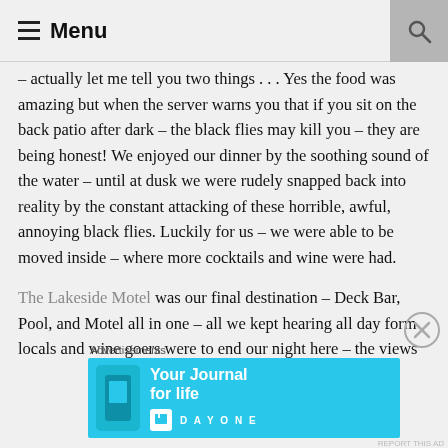Menu
– actually let me tell you two things . . . Yes the food was amazing but when the server warns you that if you sit on the back patio after dark – the black flies may kill you – they are being honest! We enjoyed our dinner by the soothing sound of the water – until at dusk we were rudely snapped back into reality by the constant attacking of these horrible, awful, annoying black flies. Luckily for us – we were able to be moved inside – where more cocktails and wine were had.
The Lakeside Motel was our final destination – Deck Bar, Pool, and Motel all in one – all we kept hearing all day form locals and wine goers were to end our night here – the views
Advertisements
[Figure (screenshot): Advertisement banner for Day One app — Your Journal for life — on a cyan/blue background with phone image and Day One logo]